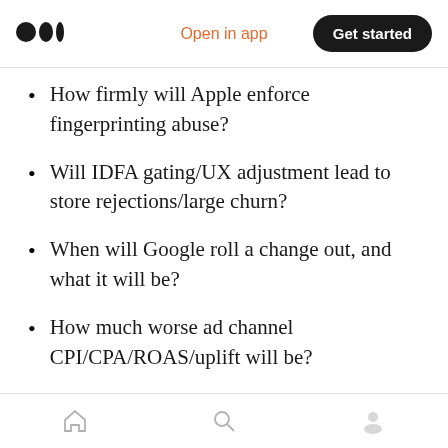Medium logo | Open in app | Get started
How firmly will Apple enforce fingerprinting abuse?
Will IDFA gating/UX adjustment lead to store rejections/large churn?
When will Google roll a change out, and what it will be?
How much worse ad channel CPI/CPA/ROAS/uplift will be?
How will conversions will be recorded from Apple Search Ads?
Home | Search | Profile